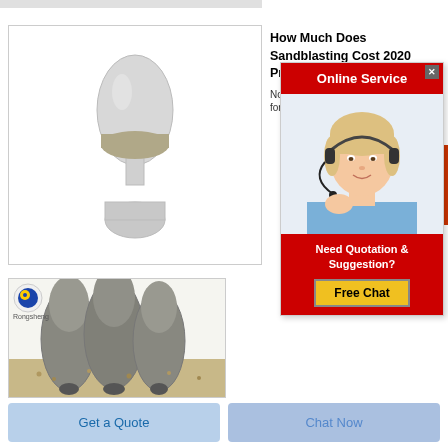[Figure (photo): Product image: sand/mineral powder in a decorative glass vase/bottle on white background]
How Much Does Sandblasting Cost 2020 Price
Nov ...   for sa...
[Figure (infographic): Online Service popup with red header, female agent with headset photo, 'Need Quotation & Suggestion?' text, and 'Free Chat' yellow button]
[Figure (photo): Rongsheng branded image showing sand-blast nozzle tips with granules/sand on a white surface]
Get a Quote
Chat Now